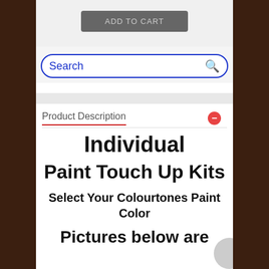ADD TO CART
Search
Product Description
Individual
Paint Touch Up Kits
Select Your Colourtones Paint Color
Pictures below are